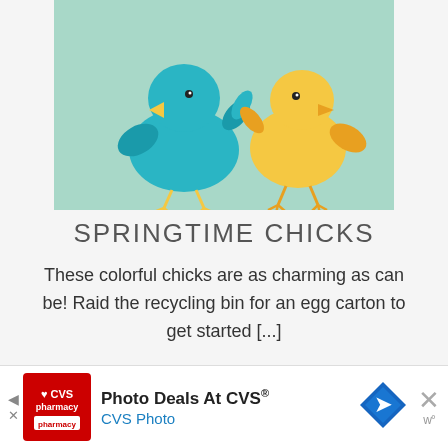[Figure (photo): Paper craft chicks made from egg cartons, painted teal/blue and yellow, with paper wings and feet, on a light green background]
SPRINGTIME CHICKS
These colorful chicks are as charming as can be! Raid the recycling bin for an egg carton to get started [...]
[Figure (infographic): Advertisement banner: Photo Deals At CVS® - CVS Photo, with CVS pharmacy red logo and navigation arrow icon]